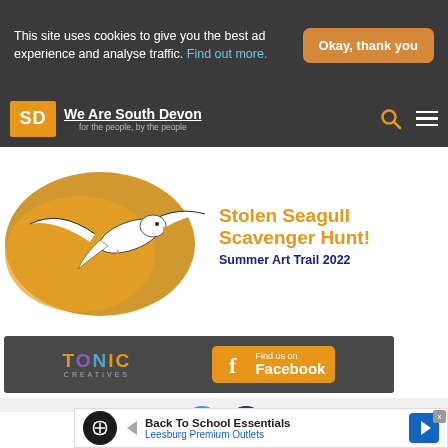This site uses cookies to give you the best ad experience and analyse traffic. Find out more.
Okay, thank you
[Figure (logo): We Are South Devon logo - SD in orange box with site name and tagline 'for the people, by the people']
[Figure (illustration): Stolen Seagull Scavenger Hunt! Summer Art Trail 2022 banner with seagull illustration on golden background]
[Figure (infographic): Tonic Creatives ad bar with Facebook Find Us On link]
[Figure (infographic): Social media icons - Twitter (blue circle) and Facebook (dark blue circle)]
[Figure (infographic): Back To School Essentials - Leesburg Premium Outlets advertisement banner]